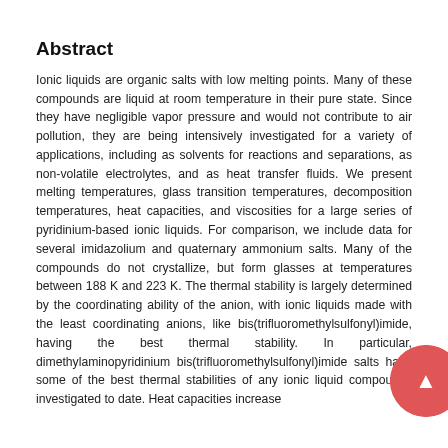Abstract
Ionic liquids are organic salts with low melting points. Many of these compounds are liquid at room temperature in their pure state. Since they have negligible vapor pressure and would not contribute to air pollution, they are being intensively investigated for a variety of applications, including as solvents for reactions and separations, as non-volatile electrolytes, and as heat transfer fluids. We present melting temperatures, glass transition temperatures, decomposition temperatures, heat capacities, and viscosities for a large series of pyridinium-based ionic liquids. For comparison, we include data for several imidazolium and quaternary ammonium salts. Many of the compounds do not crystallize, but form glasses at temperatures between 188 K and 223 K. The thermal stability is largely determined by the coordinating ability of the anion, with ionic liquids made with the least coordinating anions, like bis(trifluoromethylsulfonyl)imide, having the best thermal stability. In particular, dimethylaminopyridinium bis(trifluoromethylsulfonyl)imide salts have some of the best thermal stabilities of any ionic liquid compounds investigated to date. Heat capacities increase